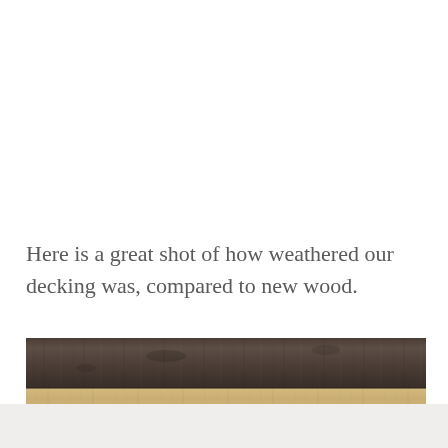Here is a great shot of how weathered our decking was, compared to new wood.
[Figure (photo): Side-by-side comparison of weathered dark grey wood decking (top) versus new light tan wood (bottom)]